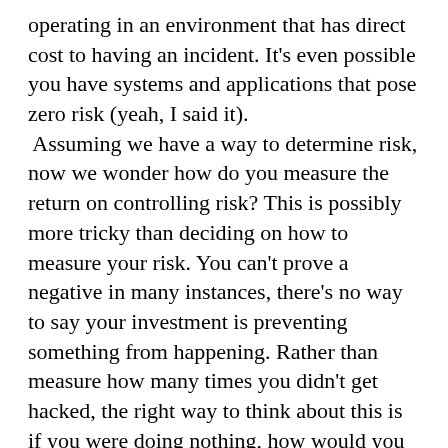operating in an environment that has direct cost to having an incident. It's even possible you have systems and applications that pose zero risk (yeah, I said it).
 Assuming we have a way to determine risk, now we wonder how do you measure the return on controlling risk? This is possibly more tricky than deciding on how to measure your risk. You can't prove a negative in many instances, there's no way to say your investment is preventing something from happening. Rather than measure how many times you didn't get hacked, the right way to think about this is if you were doing nothing, how would you measure your level of risk? We can refer back to our risk measurement method for that. Now we think about where we do have certain protections in place, what will an incident look like? How much less trouble will there be? If you can't answer this you're probably